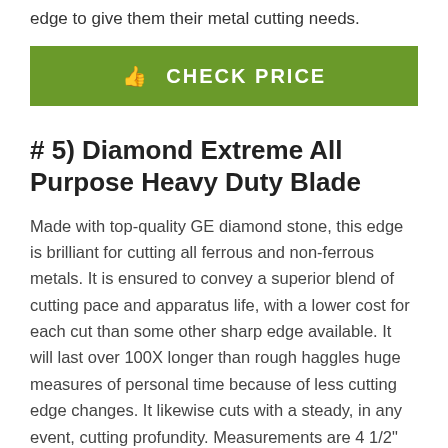edge to give them their metal cutting needs.
CHECK PRICE
# 5) Diamond Extreme All Purpose Heavy Duty Blade
Made with top-quality GE diamond stone, this edge is brilliant for cutting all ferrous and non-ferrous metals. It is ensured to convey a superior blend of cutting pace and apparatus life, with a lower cost for each cut than some other sharp edge available. It will last over 100X longer than rough haggles huge measures of personal time because of less cutting edge changes. It likewise cuts with a steady, in any event, cutting profundity. Measurements are 4 1/2" breadth X .100 thick with a 7/8" arbor opening.